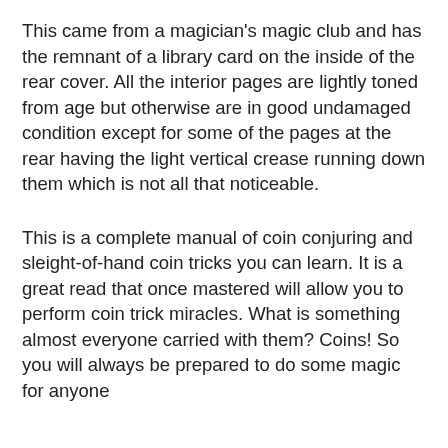This came from a magician's magic club and has the remnant of a library card on the inside of the rear cover. All the interior pages are lightly toned from age but otherwise are in good undamaged condition except for some of the pages at the rear having the light vertical crease running down them which is not all that noticeable.
This is a complete manual of coin conjuring and sleight-of-hand coin tricks you can learn. It is a great read that once mastered will allow you to perform coin trick miracles. What is something almost everyone carried with them? Coins! So you will always be prepared to do some magic for anyone